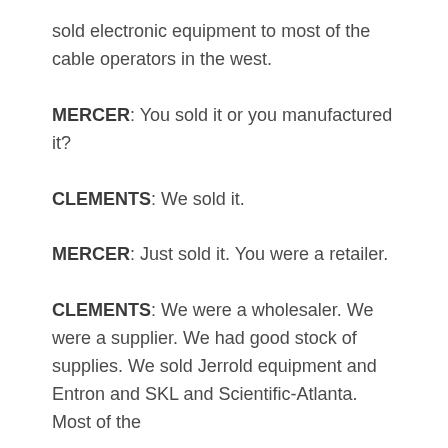sold electronic equipment to most of the cable operators in the west.
MERCER: You sold it or you manufactured it?
CLEMENTS: We sold it.
MERCER: Just sold it. You were a retailer.
CLEMENTS: We were a wholesaler. We were a supplier. We had good stock of supplies. We sold Jerrold equipment and Entron and SKL and Scientific-Atlanta. Most of the